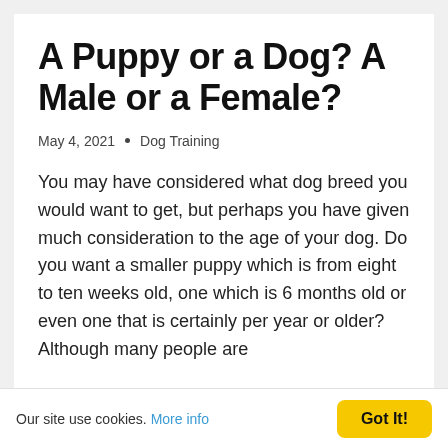A Puppy or a Dog? A Male or a Female?
May 4, 2021 • Dog Training
You may have considered what dog breed you would want to get, but perhaps you have given much consideration to the age of your dog. Do you want a smaller puppy which is from eight to ten weeks old, one which is 6 months old or even one that is certainly per year or older? Although many people are
Our site use cookies. More info   Got It!